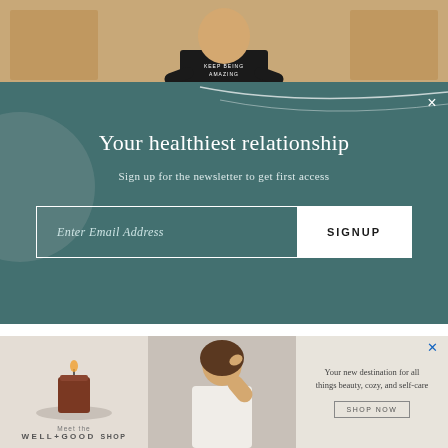[Figure (photo): Top photo strip showing a person wearing a black 'Keep Being Amazing' t-shirt with arms crossed, standing in front of wooden cabinet panels]
[Figure (infographic): Teal/dark green newsletter signup overlay panel with decorative gray circle and white wavy line. Contains title, subtitle, email input field, and SIGNUP button.]
Your healthiest relationship
Sign up for the newsletter to get first access
his month marks my fifth anniversary of being disabled. Five years of sadness, frustration, joy, and celebration. Five years of how I keep being
[Figure (photo): Advertisement banner for Well+Good Shop showing a candle on a plate, a woman styling her hair, and text 'Your new destination for all things beauty, cozy, and self-care' with a SHOP NOW button and Well+Good Shop logo]